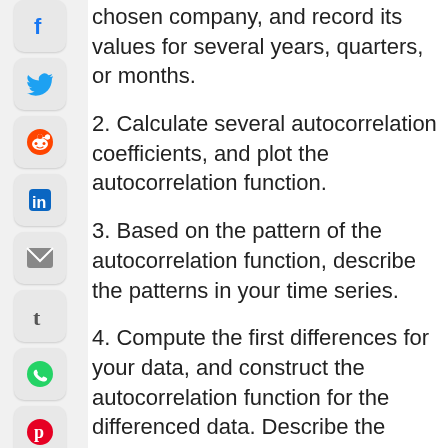[Figure (infographic): Social sharing sidebar with icons: Facebook (blue f), Twitter (blue bird), Reddit (orange alien), LinkedIn (blue in), Email (grey envelope), Tumblr (grey t), WhatsApp (green phone), Pinterest (red P), Messenger (blue lightning), Print (grey printer), and a partially visible icon at bottom.]
chosen company, and record its values for several years, quarters, or months.
2. Calculate several autocorrelation coefficients, and plot the autocorrelation function.
3. Based on the pattern of the autocorrelation function, describe the patterns in your time series.
4. Compute the first differences for your data, and construct the autocorrelation function for the differenced data. Describe the resulting patterns in the time series of first differences.
5. Identify several potential predictor variables for your dependent variable. You may use company records and other data sources in this process.